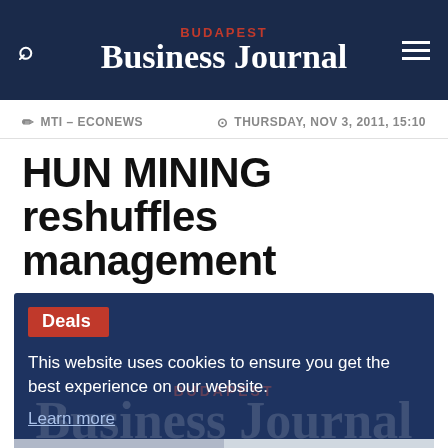BUDAPEST BUSINESS JOURNAL
MTI – ECONEWS   THURSDAY, NOV 3, 2011, 15:10
HUN MINING reshuffles management
[Figure (screenshot): Cookie consent banner overlay on a dark navy blue background with a red 'Deals' badge in the top left, cookie notice text reading 'This website uses cookies to ensure you get the best experience on our website. Learn more', and two buttons at the bottom: 'Decline' and 'Allow cookies'. A faint Budapest Business Journal watermark logo is visible in the background.]